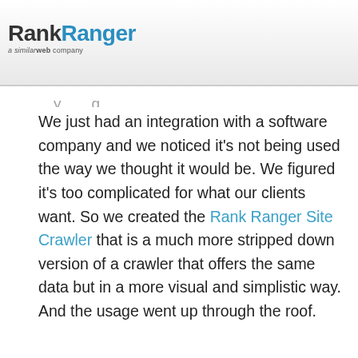[Figure (logo): RankRanger logo with 'a similarweb company' tagline]
We just had an integration with a software company and we noticed it's not being used the way we thought it would be. We figured it's too complicated for what our clients want. So we created the Rank Ranger Site Crawler that is a much more stripped down version of a crawler that offers the same data but in a more visual and simplistic way. And the usage went up through the roof.